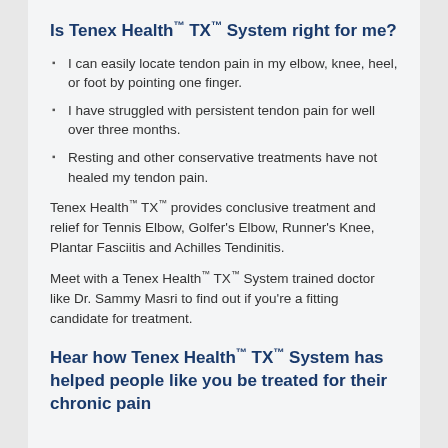Is Tenex Health™ TX™ System right for me?
I can easily locate tendon pain in my elbow, knee, heel, or foot by pointing one finger.
I have struggled with persistent tendon pain for well over three months.
Resting and other conservative treatments have not healed my tendon pain.
Tenex Health™ TX™ provides conclusive treatment and relief for Tennis Elbow, Golfer's Elbow, Runner's Knee, Plantar Fasciitis and Achilles Tendinitis.
Meet with a Tenex Health™ TX™ System trained doctor like Dr. Sammy Masri to find out if you're a fitting candidate for treatment.
Hear how Tenex Health™ TX™ System has helped people like you be treated for their chronic pain